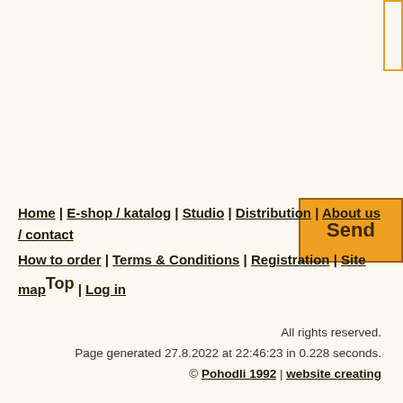[Figure (screenshot): Orange-bordered input text box, partially visible at top right]
[Figure (screenshot): Orange 'Send' button with dark border]
Home | E-shop / katalog | Studio | Distribution | About us / contact
How to order | Terms & Conditions | Registration | Site map Top | Log in
All rights reserved.
Page generated 27.8.2022 at 22:46:23 in 0.228 seconds.
© Pohodli 1992 | website creating